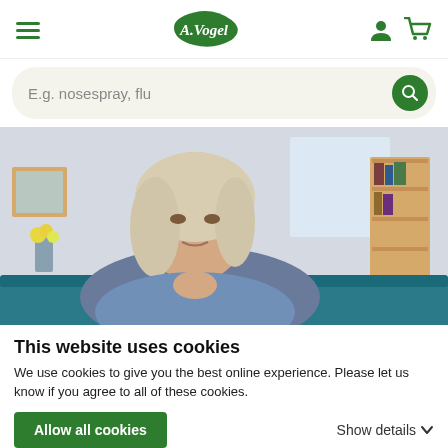A.Vogel website header with hamburger menu, logo, user icon and cart icon
E.g. nosespray, flu
[Figure (photo): Middle-aged woman in blue shirt touching her chest, sitting on a teal sofa in a living room with a bookshelf and flowers in the background]
This website uses cookies
We use cookies to give you the best online experience. Please let us know if you agree to all of these cookies.
Allow all cookies
Show details